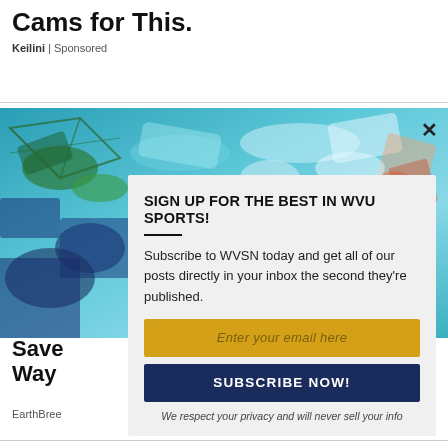Cams for This.
Keilini | Sponsored
[Figure (photo): Overhead photo of ocean plastic pollution — colorful plastic waste and netting submerged in blue-green water]
SIGN UP FOR THE BEST IN WVU SPORTS!
Subscribe to WVSN today and get all of our posts directly in your inbox the second they're published.
Enter your email here
SUBSCRIBE NOW!
We respect your privacy and will never sell your info
Save Way
EarthBree